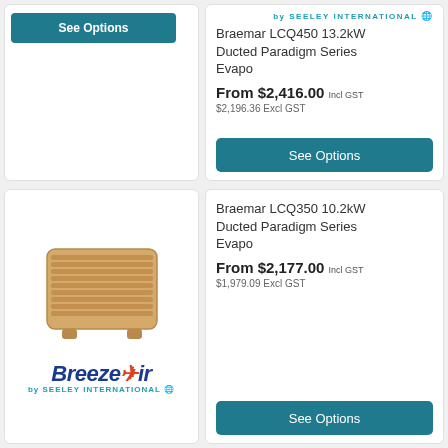[Figure (logo): Seeley International logo (partial, top of page)]
Braemar LCQ450 13.2kW Ducted Paradigm Series Evapo
From $2,416.00 Incl GST
$2,196.36 Excl GST
See Options
[Figure (photo): Breezair evaporative cooler unit with horizontal slats in beige/gold color]
[Figure (logo): Breezair by Seeley International logo]
Braemar LCQ350 10.2kW Ducted Paradigm Series Evapo
From $2,177.00 Incl GST
$1,979.09 Excl GST
See Options